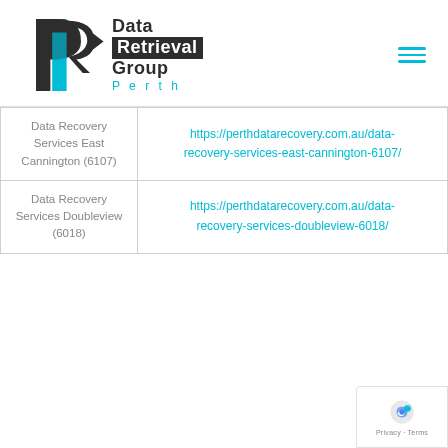[Figure (logo): Data Retrieval Group Perth logo with stylized R arrow icon in dark and cyan colors]
| Data Recovery Services East Cannington (6107) | https://perthdatarecovery.com.au/data-recovery-services-east-cannington-6107/ |
| Data Recovery Services Doubleview (6018) | https://perthdatarecovery.com.au/data-recovery-services-doubleview-6018/ |
[Figure (logo): Google reCAPTCHA badge with Privacy and Terms links]